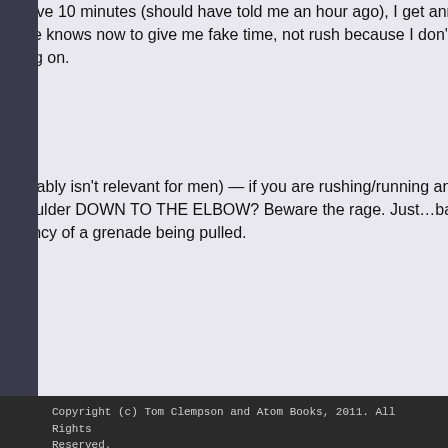annoyed. When Hubs tells me we have 10 minutes (should have told me an hour ago), I get annoyed because I like to take my time. But he knows now to give me fake time, not rush because I don't like the anxiety that rushing tends to bring on.
Also, just so you know (and this probably isn't relevant for men) — if you are rushing/running and they're carrying a purse over the shoulder DOWN TO THE ELBOW? Beware the rage. Just…bag-sliding-down-the-arm is the equivalency of a grenade being pulled.
reply
Tom Clempson
No, that's good! Thank you! Come to think of it, female rushing must be more stressful than male rushing altogether – high heels, bags, three or four kids in tow… Are there any more secret rage triggers I should know about?
reply
Copyright (c) Tom Clempson and Atom Books, 2011. All Rights Reserved.